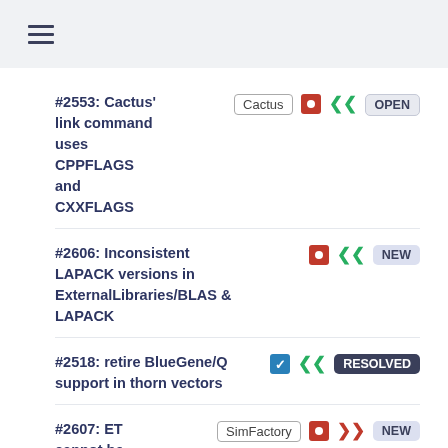≡ (hamburger menu)
#2553: Cactus' link command uses CPPFLAGS and CXXFLAGS | tag: Cactus | status: OPEN
#2606: Inconsistent LAPACK versions in ExternalLibraries/BLAS & LAPACK | status: NEW
#2518: retire BlueGene/Q support in thorn vectors | status: RESOLVED
#2607: ET cannot be compiled on Caltech bethe workstati... | tag: SimFactory | status: NEW